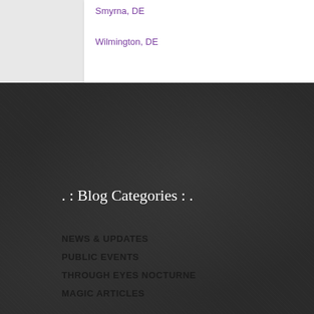Smyrna, DE
Wilmington, DE
. : Blog Categories : .
NEWS & UPDATES
PUBLIC EVENTS
THROUGH EYES NOCTURNE
MAGIC ARTICLES
. : Recent Blog Posts : .
Uncovering Secrecy Within Magic